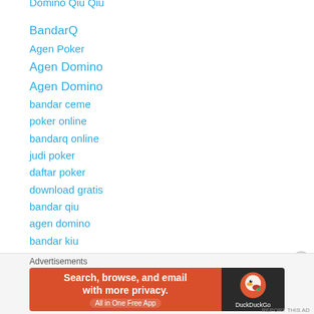Domino Qiu Qiu
BandarQ
Agen Poker
Agen Domino
Agen Domino
bandar ceme
poker online
bandarq online
judi poker
daftar poker
download gratis
bandar qiu
agen domino
bandar kiu
bandar q
agen domino
bandar domino
POKER ONLINE
Advertisements
[Figure (infographic): DuckDuckGo advertisement banner: orange background with text 'Search, browse, and email with more privacy. All in One Free App' and DuckDuckGo duck logo on dark background]